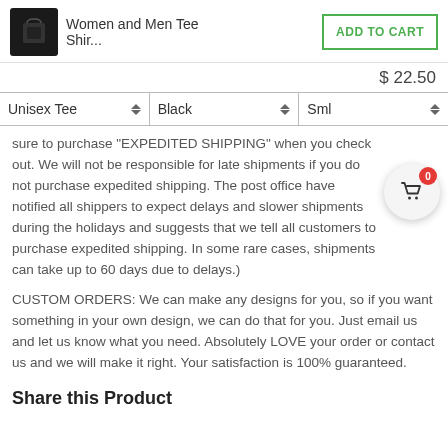Women and Men Tee Shir...
ADD TO CART
$ 22.50
Unisex Tee | Black | Sml
sure to purchase "EXPEDITED SHIPPING" when you check out. We will not be responsible for late shipments if you do not purchase expedited shipping. The post office have notified all shippers to expect delays and slower shipments during the holidays and suggests that we tell all customers to purchase expedited shipping. In some rare cases, shipments can take up to 60 days due to delays.)
CUSTOM ORDERS: We can make any designs for you, so if you want something in your own design, we can do that for you. Just email us and let us know what you need. Absolutely LOVE your order or contact us and we will make it right. Your satisfaction is 100% guaranteed.
Share this Product